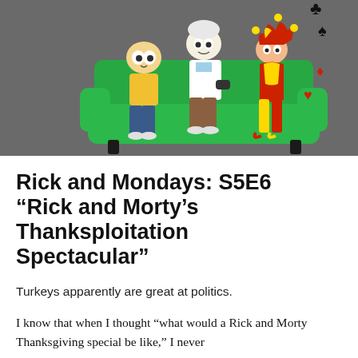[Figure (illustration): Animated illustration of Rick and Morty characters (Morty, Rick, and a jester character) sitting on a green couch against a dark gray background. Playing card suit symbols (club, spade, diamond, heart) appear near the jester.]
Rick and Mondays: S5E6 “Rick and Morty’s Thanksploitation Spectacular”
Turkeys apparently are great at politics.
I know that when I thought “what would a Rick and Morty Thanksgiving special be like,” I never